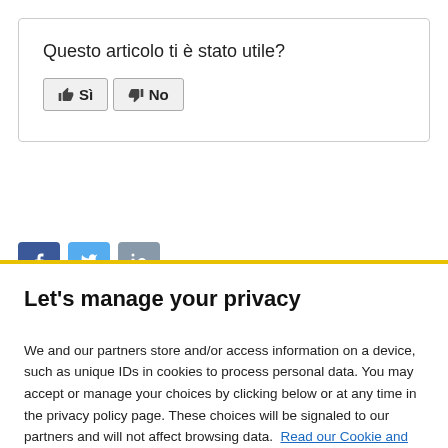Questo articolo ti è stato utile?
[Figure (screenshot): Two buttons: thumbs-up 'Sì' and thumbs-down 'No']
[Figure (screenshot): Social sharing icons: Facebook (f), Twitter (bird), LinkedIn (in)]
Let's manage your privacy
We and our partners store and/or access information on a device, such as unique IDs in cookies to process personal data. You may accept or manage your choices by clicking below or at any time in the privacy policy page. These choices will be signaled to our partners and will not affect browsing data. Read our Cookie and Internet Advertising Policy
[Figure (screenshot): Two buttons: 'Cookies Settings' (outlined) and 'Accept All Cookies' (filled black)]